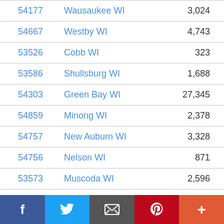| ZIP | City | Population | Change |
| --- | --- | --- | --- |
| 54177 | Wausaukee WI | 3,024 | 4% |
| 54667 | Westby WI | 4,743 | 3% |
| 53526 | Cobb WI | 323 | -74% |
| 53586 | Shullsburg WI | 1,688 | -35% |
| 54303 | Green Bay WI | 27,345 | 1% |
| 54859 | Minong WI | 2,378 | 20% |
| 54757 | New Auburn WI | 3,328 | 0% |
| 54756 | Nelson WI | 871 | -5% |
| 53573 | Muscoda WI | 2,596 | -17% |
| 53805 | Boscobel WI | 4,863 | -8% |